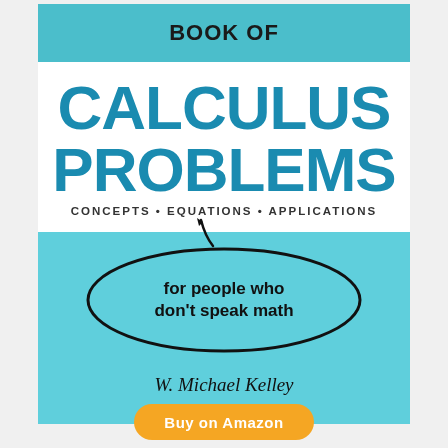[Figure (illustration): Book cover for 'The Humongous Book of Calculus Problems' by W. Michael Kelley. Light teal/cyan background with math equations faintly printed. Top band shows partial title 'BOOK OF', white middle band shows 'CALCULUS PROBLEMS' in large bold blue letters, subtitle 'CONCEPTS • EQUATIONS • APPLICATIONS', lower teal section has speech bubble reading 'for people who don't speak math', author name 'W. Michael Kelley' at bottom.]
Buy on Amazon